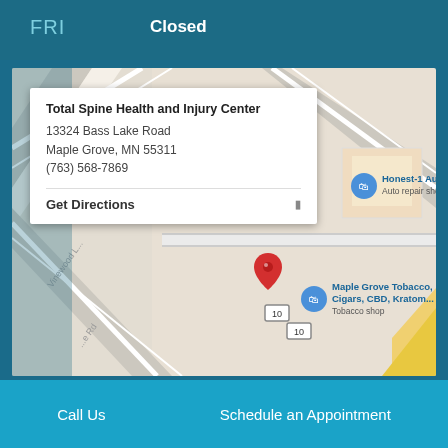FRI   Closed
[Figure (map): Google Maps screenshot showing location of Total Spine Health and Injury Center at 13324 Bass Lake Road, Maple Grove, MN 55311. Map shows street intersections, nearby businesses including Honest-1 Auto Care and Maple Grove Tobacco Cigars CBD Kratom shop, with a red map pin marking the location. A white popup card overlays the map with business name, address, phone number, and Get Directions link.]
Total Spine Health and Injury Center
13324 Bass Lake Road
Maple Grove, MN 55311
(763) 568-7869
Get Directions
Call Us   Schedule an Appointment